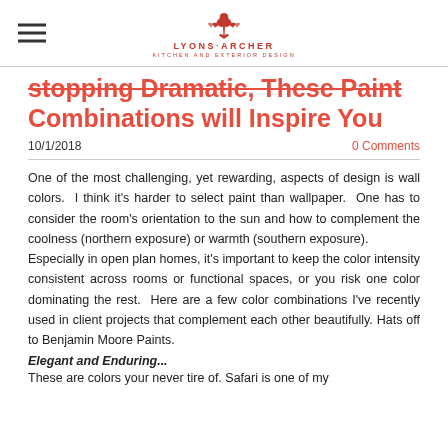Lyons Archer Kitchen and Exterior Design
stopping Dramatic, These Paint Combinations will Inspire You
10/1/2018
0 Comments
One of the most challenging, yet rewarding, aspects of design is wall colors. I think it's harder to select paint than wallpaper. One has to consider the room's orientation to the sun and how to complement the coolness (northern exposure) or warmth (southern exposure).
Especially in open plan homes, it's important to keep the color intensity consistent across rooms or functional spaces, or you risk one color dominating the rest. Here are a few color combinations I've recently used in client projects that complement each other beautifully. Hats off to Benjamin Moore Paints.
Elegant and Enduring...
These are colors your never tire of. Safari is one of my